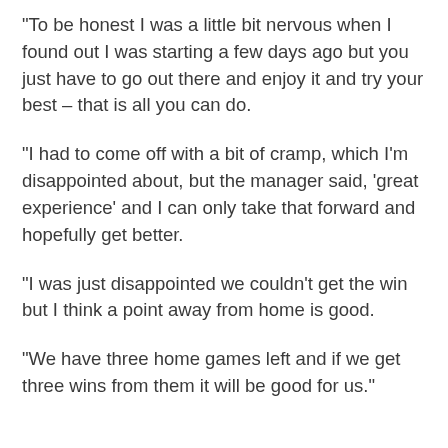"To be honest I was a little bit nervous when I found out I was starting a few days ago but you just have to go out there and enjoy it and try your best – that is all you can do.
"I had to come off with a bit of cramp, which I'm disappointed about, but the manager said, 'great experience' and I can only take that forward and hopefully get better.
"I was just disappointed we couldn't get the win but I think a point away from home is good.
"We have three home games left and if we get three wins from them it will be good for us."